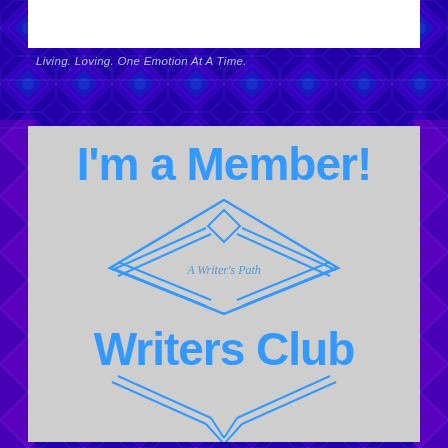[Figure (illustration): Abstract blue and purple geometric/kaleidoscopic tiled background pattern covering the entire page]
Living. Loving. One Emotion At A Time.
[Figure (logo): A Writer's Path Writers Club membership badge on a light gray/beige background. Features bold blue text 'I'm a Member!' at top, a geometric diamond/chevron logo in the center with 'A Writer's Path' label, and bold blue 'Writers Club' text below. Additional chevron/diamond decorative lines at the bottom.]